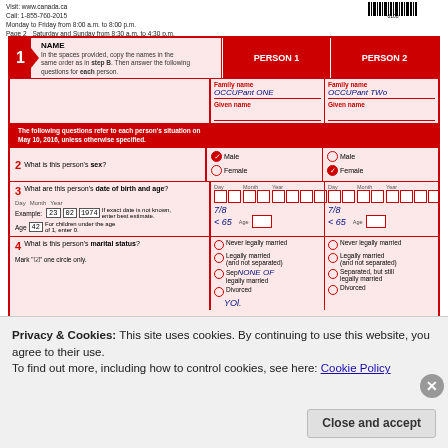Visit: www.canada.ca Call: 1-855-760-2015 Monday to Friday from 8:00 a.m. to 8:00 p.m. Page 2 Saturday and Sunday from 8:30 a.m. to 4:30 p.m.
[Figure (other): Barcode / product code 0100 on top right of page header]
1 NAME - In the spaces provided, copy the names in the same order as in step B. Then answer the following questions for each person.
PERSON 1 - Family name: OCCUPANT ONE, Given name: (blank)
PERSON 2 - Family name: OCCUPANT TWO, Given name: (blank)
The following questions refer to each person's situation on May 10, 2016, unless otherwise specified.
2 What is this person's sex?
Person 1: Male (checked), Female. Person 2: Male, Female (checked).
3 What are this person's date of birth and age?
Example: Day 23, Month 02, Year 1974, Age 42. If exact date is not known, enter best estimate. For children under the age of 1, enter 0.
Person 1: 7/8, <65, Age blank. Person 2: 7/8, <65, Age blank.
4 What is this person's marital status?
Mark one circle only.
Person 1: Never legally married, Legally married (and not separated), Separated but still legally married (handwritten: NONE OF), Divorced (handwritten: YOU). Person 2: Never legally married, Legally married (and not separated), Separated but still legally married, Divorced.
Privacy & Cookies: This site uses cookies. By continuing to use this website, you agree to their use. To find out more, including how to control cookies, see here: Cookie Policy
Close and accept